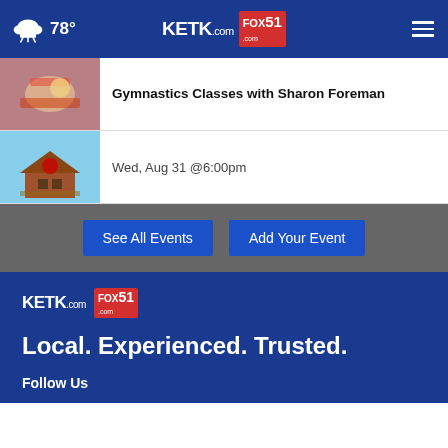78° KETK.com FOX51
Gymnastics Classes with Sharon Foreman
Wed, Aug 31 @6:00pm
See All Events | Add Your Event
[Figure (logo): KETK.com and FOX51 logos on dark blue background]
Local. Experienced. Trusted.
Follow Us